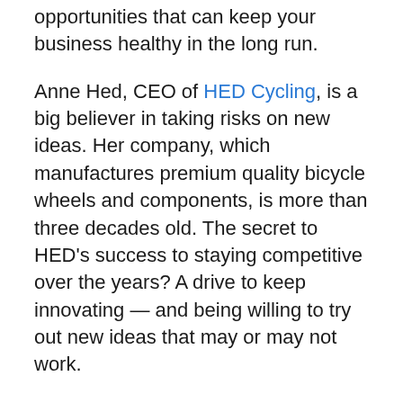opportunities that can keep your business healthy in the long run.
Anne Hed, CEO of HED Cycling, is a big believer in taking risks on new ideas. Her company, which manufactures premium quality bicycle wheels and components, is more than three decades old. The secret to HED's success to staying competitive over the years? A drive to keep innovating — and being willing to try out new ideas that may or may not work.
“You have to realize that, to keep the company growing and moving forward, you’re going to fail — you’re going to fail a lot,” Hed says. “You have to get scared, and get out of your comfort zone or you’ll never evolve your company. You’ll